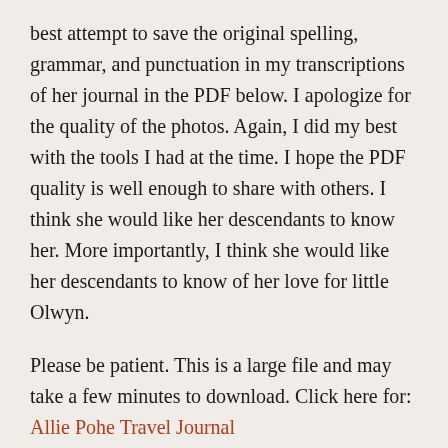best attempt to save the original spelling, grammar, and punctuation in my transcriptions of her journal in the PDF below. I apologize for the quality of the photos. Again, I did my best with the tools I had at the time. I hope the PDF quality is well enough to share with others. I think she would like her descendants to know her. More importantly, I think she would like her descendants to know of her love for little Olwyn.
Please be patient. This is a large file and may take a few minutes to download. Click here for: Allie Pohe Travel Journal
Please note: I aim for accuracy, but my memories may not